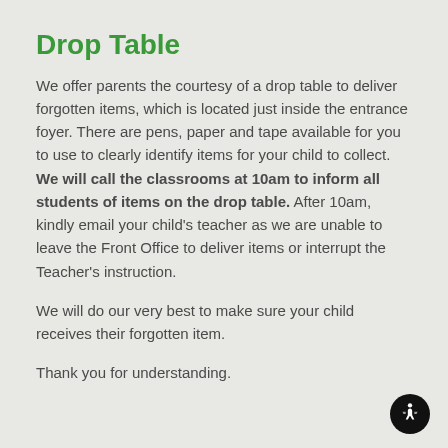Drop Table
We offer parents the courtesy of a drop table to deliver forgotten items, which is located just inside the entrance foyer. There are pens, paper and tape available for you to use to clearly identify items for your child to collect. We will call the classrooms at 10am to inform all students of items on the drop table. After 10am, kindly email your child's teacher as we are unable to leave the Front Office to deliver items or interrupt the Teacher's instruction.
We will do our very best to make sure your child receives their forgotten item.
Thank you for understanding.
Transportation Change / Early Dismissal